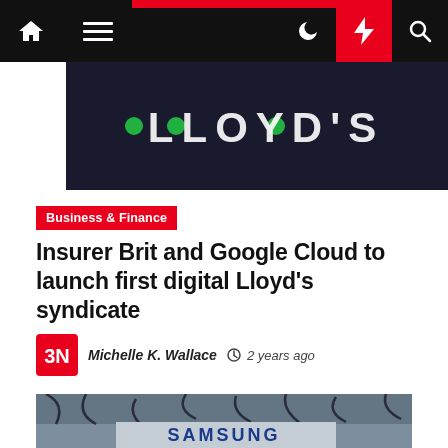Navigation bar with home, menu, dark mode, lightning/breaking, and search icons
[Figure (photo): Top partial image: dark background with Lloyd's signage in white letters and green lights]
Business & Finance
Insurer Brit and Google Cloud to launch first digital Lloyd's syndicate
Michelle K. Wallace  2 years ago
[Figure (photo): Bottom image: Samsung building exterior with trees reflected in glass facade]